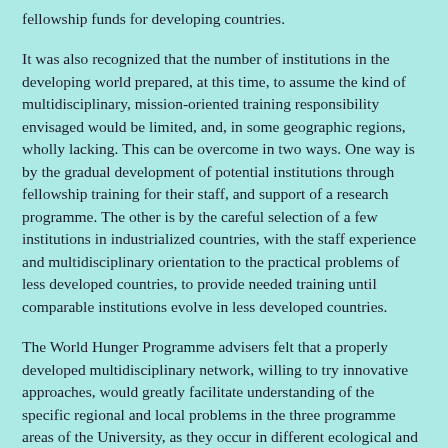fellowship funds for developing countries.
It was also recognized that the number of institutions in the developing world prepared, at this time, to assume the kind of multidisciplinary, mission-oriented training responsibility envisaged would be limited, and, in some geographic regions, wholly lacking. This can be overcome in two ways. One way is by the gradual development of potential institutions through fellowship training for their staff, and support of a research programme. The other is by the careful selection of a few institutions in industrialized countries, with the staff experience and multidisciplinary orientation to the practical problems of less developed countries, to provide needed training until comparable institutions evolve in less developed countries.
The World Hunger Programme advisers felt that a properly developed multidisciplinary network, willing to try innovative approaches, would greatly facilitate understanding of the specific regional and local problems in the three programme areas of the University, as they occur in different ecological and cultural settings, and would assist in their solution. The goal of network development is the establishment of a community of scholars in different disciplines, sharing information and exchanging views on research and training priorities relevant to the UN University objectives, and engaging in concrete co-operative ventures for the